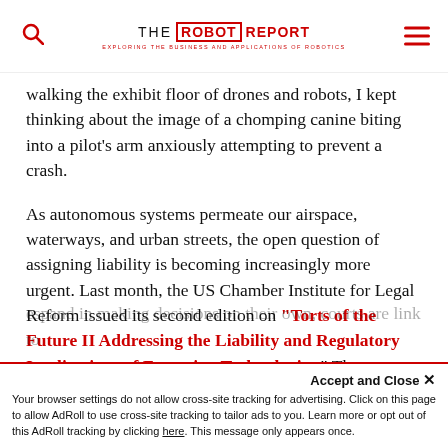THE ROBOT REPORT — EXPLORING THE BUSINESS AND APPLICATIONS OF ROBOTICS
walking the exhibit floor of drones and robots, I kept thinking about the image of a chomping canine biting into a pilot's arm anxiously attempting to prevent a crash.
As autonomous systems permeate our airspace, waterways, and urban streets, the open question of assigning liability is becoming increasingly more urgent. Last month, the US Chamber Institute for Legal Reform issued its second edition on “Torts of the Future II Addressing the Liability and Regulatory Implications of Emerging Technologies.” The new report covers a wide range of legal issues related to artificial intelligence and unmanned systems.
espand in making decisions on their own, courts are link to